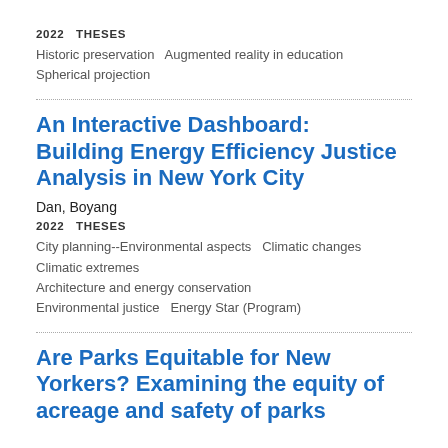2022  THESES
Historic preservation   Augmented reality in education
Spherical projection
An Interactive Dashboard: Building Energy Efficiency Justice Analysis in New York City
Dan, Boyang
2022  THESES
City planning--Environmental aspects   Climatic changes
Climatic extremes
Architecture and energy conservation
Environmental justice   Energy Star (Program)
Are Parks Equitable for New Yorkers? Examining the equity of acreage and safety of parks